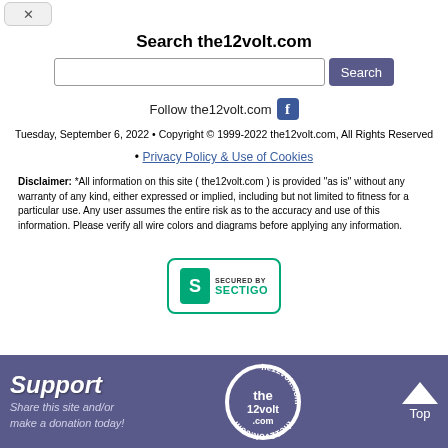Search the12volt.com
Follow the12volt.com [Facebook icon]
Tuesday, September 6, 2022 • Copyright © 1999-2022 the12volt.com, All Rights Reserved
• Privacy Policy & Use of Cookies
Disclaimer: *All information on this site ( the12volt.com ) is provided "as is" without any warranty of any kind, either expressed or implied, including but not limited to fitness for a particular use. Any user assumes the entire risk as to the accuracy and use of this information. Please verify all wire colors and diagrams before applying any information.
[Figure (logo): Sectigo SSL badge: green bordered rectangle with green S logo and text SECURED BY SECTIGO]
Support the12volt.com — Share this site and/or make a donation today! [logo] Top